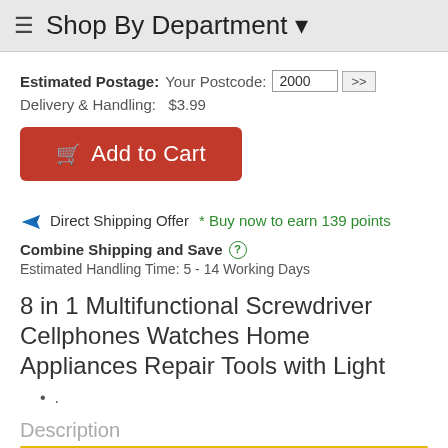≡ Shop By Department ▾
Estimated Postage: Your Postcode: 2000 >>
Delivery & Handling: $3.99
Add to Cart
✈ Direct Shipping Offer  * Buy now to earn 139 points
Combine Shipping and Save ⓘ
Estimated Handling Time: 5 - 14 Working Days
8 in 1 Multifunctional Screwdriver Cellphones Watches Home Appliances Repair Tools with Light
.
Description